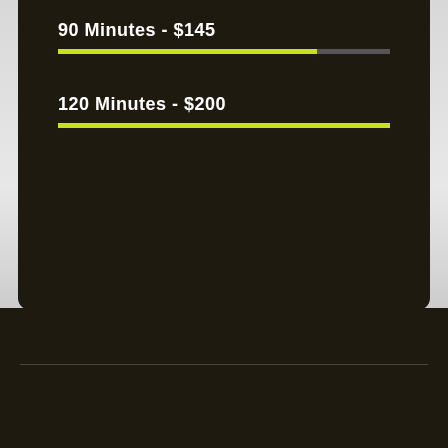90 Minutes - $145
[Figure (infographic): Progress bar: ~78% green (lime), ~22% dark gray, representing 90 minutes / $145 tier]
120 Minutes - $200
[Figure (infographic): Progress bar: 100% green (lime), representing 120 minutes / $200 tier]
BECOME A MEMBER